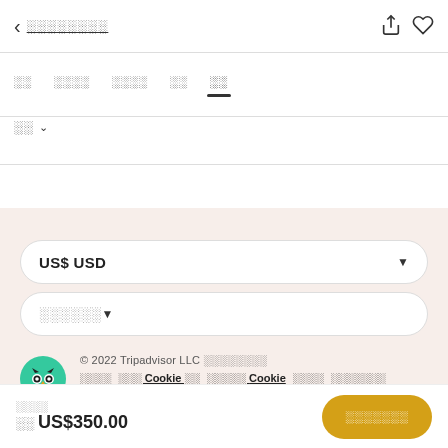< ░░░░░░░░
░░  ░░░░  ░░░░  ░░  ░░
░░ ∨
US$ USD ▼
░░░░░░ ▼
© 2022 Tripadvisor LLC ░░░░░░░░
░░░░  ░░░ Cookie ░░  ░░░░░ Cookie  ░░░░  ░░░░░░░  Contact us
░░░░
░░ US$350.00   ░░░░░░░